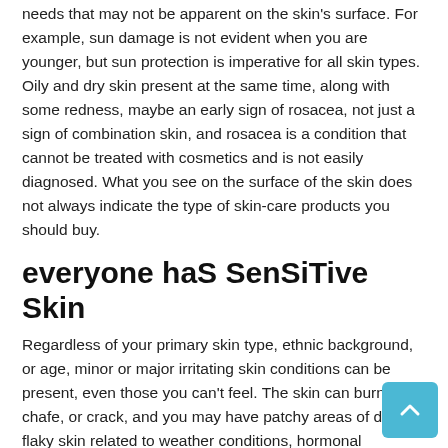needs that may not be apparent on the skin's surface. For example, sun damage is not evident when you are younger, but sun protection is imperative for all skin types. Oily and dry skin present at the same time, along with some redness, maybe an early sign of rosacea, not just a sign of combination skin, and rosacea is a condition that cannot be treated with cosmetics and is not easily diagnosed. What you see on the surface of the skin does not always indicate the type of skin-care products you should buy.
everyone haS SenSiTive Skin
Regardless of your primary skin type, ethnic background, or age, minor or major irritating skin conditions can be present, even those you can't feel. The skin can burn, chafe, or crack, and you may have patchy areas of dry, flaky skin related to weather conditions, hormonal changes, the skin-care products you use, or sun exposure. Skin can also break out in small bumps that look like a diaper rash. Skin can itch, swell, blotch, redden, and develop allergic reactions to cosmetics, animals, dust, or pollen.  If that isn't enough to make you itch just a little, then think about the number of cosmetics most women use daily